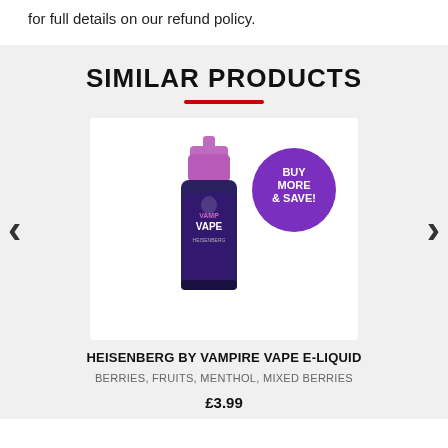for full details on our refund policy.
SIMILAR PRODUCTS
[Figure (photo): Product photo of Heisenberg by Vampire Vape E-Liquid bottle with purple cap and a purple circular badge saying BUY MORE & SAVE!]
HEISENBERG BY VAMPIRE VAPE E-LIQUID
BERRIES, FRUITS, MENTHOL, MIXED BERRIES
£3.99